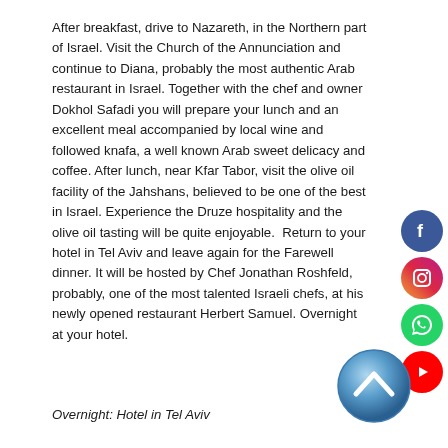After breakfast, drive to Nazareth, in the Northern part of Israel. Visit the Church of the Annunciation and continue to Diana, probably the most authentic Arab restaurant in Israel. Together with the chef and owner Dokhol Safadi you will prepare your lunch and an excellent meal accompanied by local wine and followed knafa, a well known Arab sweet delicacy and coffee. After lunch, near Kfar Tabor, visit the olive oil facility of the Jahshans, believed to be one of the best in Israel. Experience the Druze hospitality and the olive oil tasting will be quite enjoyable.  Return to your hotel in Tel Aviv and leave again for the Farewell dinner. It will be hosted by Chef Jonathan Roshfeld, probably, one of the most talented Israeli chefs, at his newly opened restaurant Herbert Samuel. Overnight at your hotel.
Overnight: Hotel in Tel Aviv